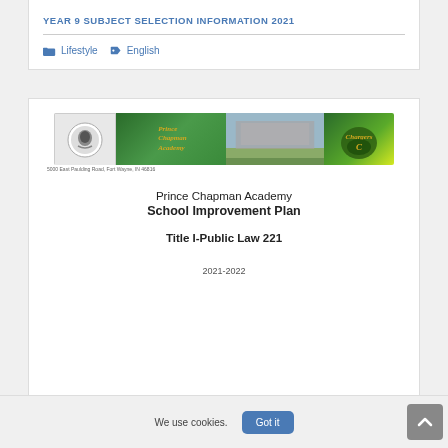YEAR 9 SUBJECT SELECTION INFORMATION 2021
Lifestyle  English
[Figure (illustration): Prince Chapman Academy school banner with logo, school name in gold italic text on green background, school building photo, and Chargers mascot logo on green/yellow background]
Prince Chapman Academy
School Improvement Plan
Title I-Public Law 221
2021-2022
We use cookies.